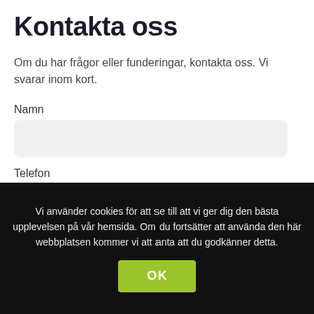Kontakta oss
Om du har frågor eller funderingar, kontakta oss. Vi svarar inom kort.
Namn
Telefon
Vi använder cookies för att se till att vi ger dig den bästa upplevelsen på vår hemsida. Om du fortsätter att använda den här webbplatsen kommer vi att anta att du godkänner detta.